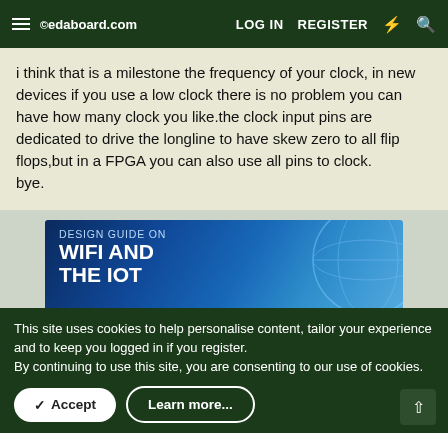edaboard.com  LOG IN  REGISTER
i think that is a milestone the frequency of your clock, in new devices if you use a low clock there is no problem you can have how many clock you like.the clock input pins are dedicated to drive the longline to have skew zero to all flip flops,but in a FPGA you can also use all pins to clock.
bye.
[Figure (illustration): Advertisement banner: DESIGN GUIDE ON WIFI AND THE IOT with blue globe/network background]
This site uses cookies to help personalise content, tailor your experience and to keep you logged in if you register.
By continuing to use this site, you are consenting to our use of cookies.